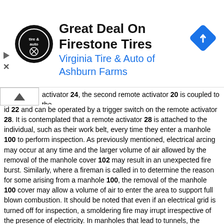[Figure (other): Advertisement banner for Virginia Tire & Auto of Ashburn Farms featuring Firestone Tires deal, with logo, title text, and navigation arrow icon]
activator 24, the second remote activator 20 is coupled to the id 22 and can be operated by a trigger switch on the remote activator 28. It is contemplated that a remote activator 28 is attached to the individual, such as their work belt, every time they enter a manhole 100 to perform inspection. As previously mentioned, electrical arcing may occur at any time and the larger volume of air allowed by the removal of the manhole cover 102 may result in an unexpected fire burst. Similarly, where a fireman is called in to determine the reason for some arising from a manhole 100, the removal of the manhole 100 cover may allow a volume of air to enter the area to support full blown combustion. It should be noted that even if an electrical grid is turned off for inspection, a smoldering fire may irrupt irrespective of the presence of electricity. In manholes that lead to tunnels, the worker may leave the second remote activator 28 at the bottom of the ladder 104. Should a fire occur, the worker that returns to the ladder 104 can active the system providing a shower of fire suppressant material that will give him the time necessary to escape the manhole.

A variation of the cabled remote is the use of a wireless transmitter 32 which works on a radio frequency. The transmitter would signal a receiver